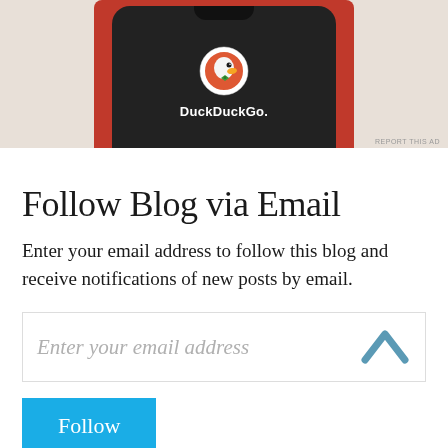[Figure (screenshot): DuckDuckGo app advertisement showing a smartphone with the DuckDuckGo app logo and name on a dark screen, phone has an orange/red background, displayed against a beige background. Small 'REPORT THIS AD' text in bottom right.]
Follow Blog via Email
Enter your email address to follow this blog and receive notifications of new posts by email.
Enter your email address
Follow